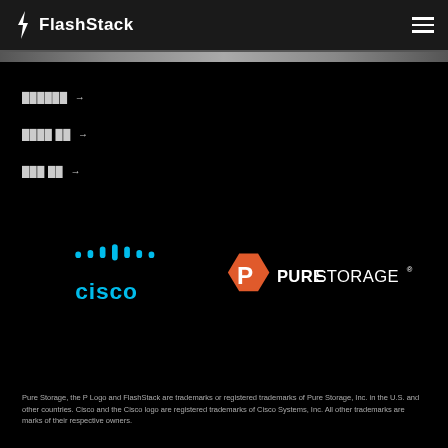FlashStack
███████ →
████ ██ →
███ ██ →
[Figure (logo): Cisco and Pure Storage logos on dark background]
Pure Storage, the P Logo and FlashStack are trademarks or registered trademarks of Pure Storage, Inc. in the U.S. and other countries. Cisco and the Cisco logo are registered trademarks of Cisco Systems, Inc. All other trademarks are marks of their respective owners.